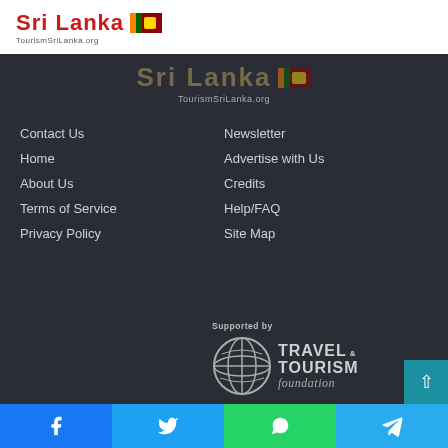[Figure (logo): Sri Lanka Tourism logo with red text 'Sri Lanka', Sri Lanka flag icon, and URL 'TourismSriLanka.org' — white background header bar]
[Figure (logo): Sri Lanka Tourism logo repeated in footer area with faded gold/brown text and 'TourismSriLanka.org' subtitle on dark background]
Contact Us
Home
About Us
Terms of Service
Privacy Policy
Newsletter
Advertise with Us
Credits
Help/FAQ
Site Map
Supported by
[Figure (logo): Travel & Tourism Foundation logo with globe icon and text 'TRAVEL & TOURISM foundation']
[Figure (infographic): Social sharing bar with Facebook, Twitter, WhatsApp, and Telegram icons at bottom of page]